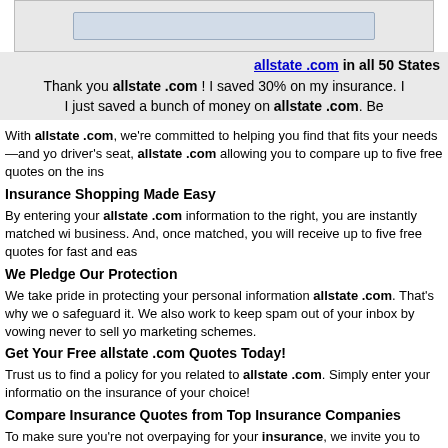[Figure (screenshot): Top portion showing a form input box area with light blue/gray styling]
allstate .com in all 50 States
Thank you allstate .com ! I saved 30% on my insurance.
I just saved a bunch of money on allstate .com. Be
With allstate .com, we're committed to helping you find that fits your needs—and yo driver's seat, allstate .com allowing you to compare up to five free quotes on the ins
Insurance Shopping Made Easy
By entering your allstate .com information to the right, you are instantly matched wi business. And, once matched, you will receive up to five free quotes for fast and eas
We Pledge Our Protection
We take pride in protecting your personal information allstate .com. That's why we safeguard it. We also work to keep spam out of your inbox by vowing never to sell yo marketing schemes.
Get Your Free allstate .com Quotes Today!
Trust us to find a policy for you related to allstate .com. Simply enter your informatio on the insurance of your choice!
Compare Insurance Quotes from Top Insurance Companies
To make sure you're not overpaying for your insurance, we invite you to compare y